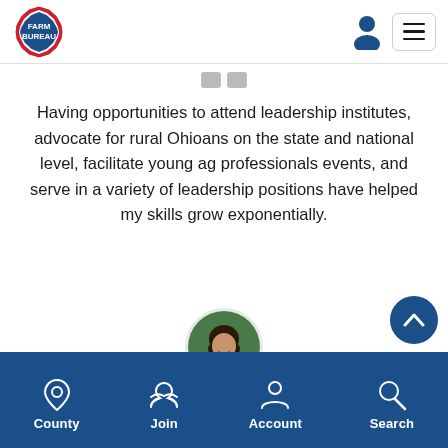Farm Bureau — navigation header with logo, user icon, and menu button
Having opportunities to attend leadership institutes, advocate for rural Ohioans on the state and national level, facilitate young ag professionals events, and serve in a variety of leadership positions have helped my skills grow exponentially.
[Figure (photo): Circular profile photo of a woman with long dark hair, smiling, in front of a green background]
County  Join  Account  Search